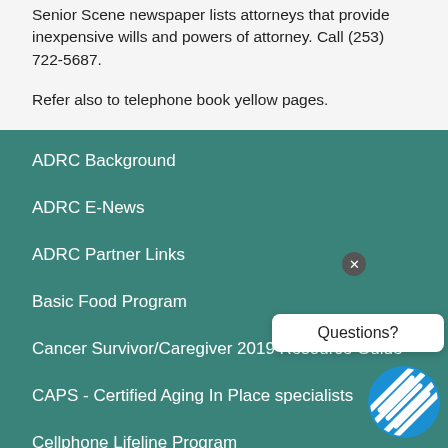Senior Scene newspaper lists attorneys that provide inexpensive wills and powers of attorney. Call (253) 722-5687.
Refer also to telephone book yellow pages.
ADRC Background
ADRC E-News
ADRC Partner Links
Basic Food Program
Cancer Survivor/Caregiver 2019 Resource Guide
CAPS - Certified Aging In Place specialists
Cellphone Lifeline Program
Certified Aging In Place Specialists